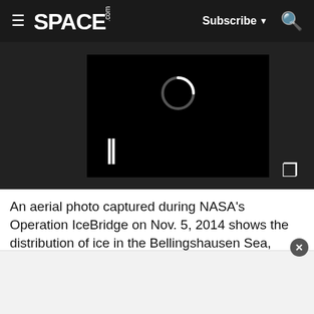SPACE.com | Subscribe | Search
[Figure (screenshot): Embedded video player with black background showing a loading spinner circle at top and pause button (||) at bottom left, on a dark gray page background]
An aerial photo captured during NASA's Operation IceBridge on Nov. 5, 2014 shows the distribution of ice in the Bellingshausen Sea, located on the west side of the Antarctic Peninsula. "The block of ice on the right side of the image is older, thicker, and was once attached to the Antarctic Ice Sheet," NASA officials said in a statement. "By the time this image was acquired, however, the ice had broken away to form an iceberg."